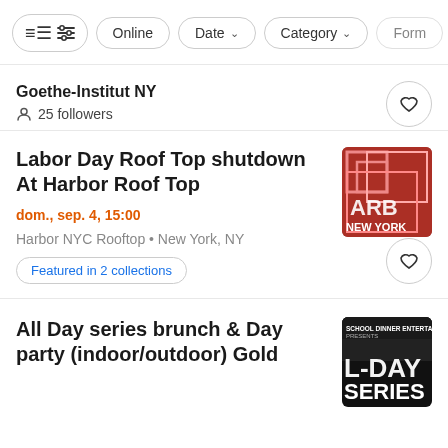Filter buttons: [icon], Online, Date, Category, Form
Goethe-Institut NY
25 followers
Labor Day Roof Top shutdown At Harbor Roof Top
dom., sep. 4, 15:00
Harbor NYC Rooftop • New York, NY
Featured in 2 collections
[Figure (photo): ARB New York rooftop event image with red neon geometric design]
All Day series brunch & Day party (indoor/outdoor) Gold
[Figure (photo): Day Series event thumbnail with dark background and text overlay]